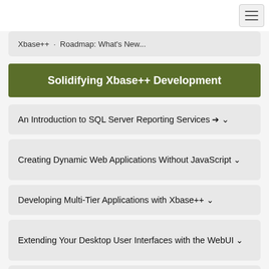Xbase++ · Roadmap: What's New...
Solidifying Xbase++ Development
An Introduction to SQL Server Reporting Services ▾
Creating Dynamic Web Applications Without JavaScript ▾
Developing Multi-Tier Applications with Xbase++ ▾
Extending Your Desktop User Interfaces with the WebUI ▾
Going OVER and Above with SQL ▾
How do I get to "Hello World?" ▾